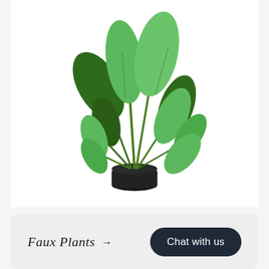[Figure (photo): A large faux tropical plant (bird of paradise / banana plant style) with multiple large green leaves on long stems, in a black cylindrical pot, photographed on a white background.]
Faux Plants →
Chat with us